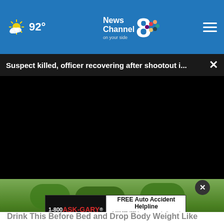92° News Channel 8 on your side
Suspect killed, officer recovering after shootout i...
[Figure (screenshot): Black video player area with progress bar at 0:00, play button, mute button, time display 00:00, subtitles icon, and fullscreen icon on dark control bar]
[Figure (photo): Green vegetables/cucumbers in a blender or container]
[Figure (other): Advertisement banner: 1-800 ASK-GARY FREE Auto Accident Helpline]
Drink This Before Bed and Drop Body Weight Like